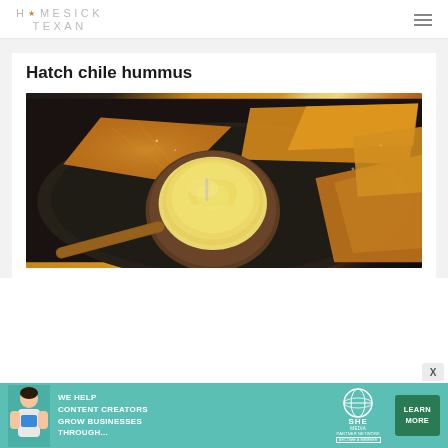HOMESICK TEXAN
Hatch chile hummus
[Figure (photo): Bowl of creamy hummus surrounded by tortilla chips on a dark plate, photographed from above at an angle]
[Figure (infographic): SHE Media Partner Network advertisement banner: 'We help content creators grow businesses through...' with Learn More button]